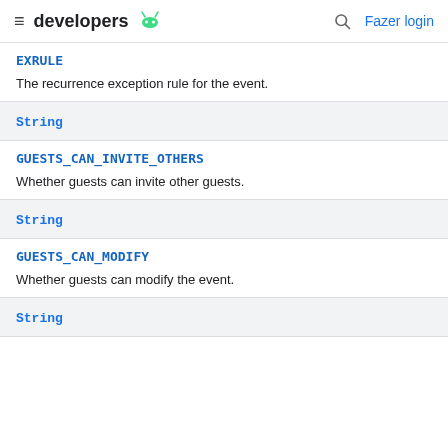developers | Fazer login
EXRULE
The recurrence exception rule for the event.
String
GUESTS_CAN_INVITE_OTHERS
Whether guests can invite other guests.
String
GUESTS_CAN_MODIFY
Whether guests can modify the event.
String